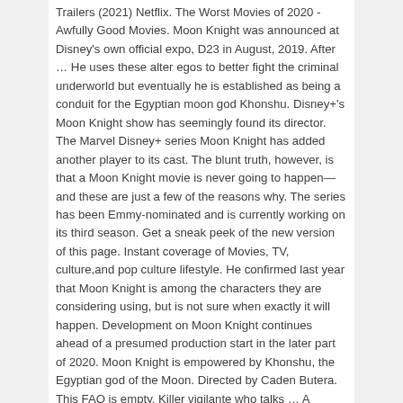Trailers (2021) Netflix. The Worst Movies of 2020 - Awfully Good Movies. Moon Knight was announced at Disney's own official expo, D23 in August, 2019. After … He uses these alter egos to better fight the criminal underworld but eventually he is established as being a conduit for the Egyptian moon god Khonshu. Disney+'s Moon Knight show has seemingly found its director. The Marvel Disney+ series Moon Knight has added another player to its cast. The blunt truth, however, is that a Moon Knight movie is never going to happen—and these are just a few of the reasons why. The series has been Emmy-nominated and is currently working on its third season. Get a sneak peek of the new version of this page. Instant coverage of Movies, TV, culture,and pop culture lifestyle. He confirmed last year that Moon Knight is among the characters they are considering using, but is not sure when exactly it will happen. Development on Moon Knight continues ahead of a presumed production start in the later part of 2020. Moon Knight is empowered by Khonshu, the Egyptian god of the Moon. Directed by Caden Butera. This FAQ is empty. Killer vigilante who talks … A discussion of several key MCU characters -- Iron Man, Thor, Captain America -- as well as their work together in the Avengers films, other recent MCU